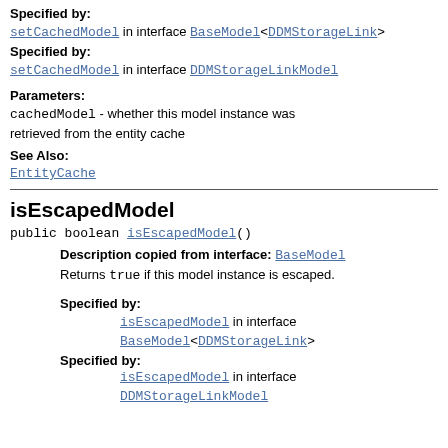Specified by:
setCachedModel in interface BaseModel<DDMStorageLink>
Specified by:
setCachedModel in interface DDMStorageLinkModel
Parameters:
cachedModel - whether this model instance was retrieved from the entity cache
See Also:
EntityCache
isEscapedModel
public boolean isEscapedModel()
Description copied from interface: BaseModel
Returns true if this model instance is escaped.
Specified by:
isEscapedModel in interface BaseModel<DDMStorageLink>
Specified by:
isEscapedModel in interface DDMStorageLinkModel